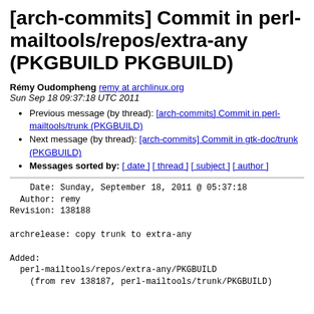[arch-commits] Commit in perl-mailtools/repos/extra-any (PKGBUILD PKGBUILD)
Rémy Oudompheng remy at archlinux.org
Sun Sep 18 09:37:18 UTC 2011
Previous message (by thread): [arch-commits] Commit in perl-mailtools/trunk (PKGBUILD)
Next message (by thread): [arch-commits] Commit in gtk-doc/trunk (PKGBUILD)
Messages sorted by: [ date ] [ thread ] [ subject ] [ author ]
Date: Sunday, September 18, 2011 @ 05:37:18
  Author: remy
Revision: 138188

archrelease: copy trunk to extra-any

Added:
  perl-mailtools/repos/extra-any/PKGBUILD
    (from rev 138187, perl-mailtools/trunk/PKGBUILD)